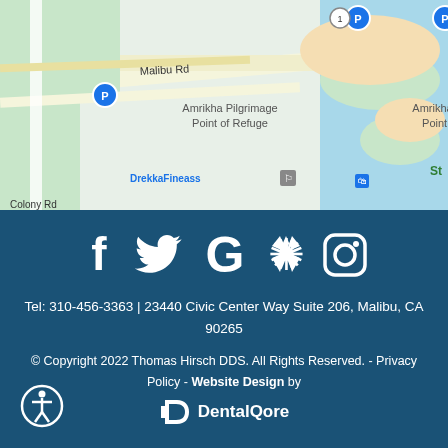[Figure (map): Google Maps screenshot showing Malibu, CA area with labeled roads (Malibu Rd, Colony Rd), parking markers (P), DrekkaFineass store with shopping bag icon, Amrikha Pilgrimage Point of Refuge label, and coastal/lagoon area.]
[Figure (infographic): Social media icons row: Facebook (f), Twitter (bird), Google (G), Yelp (flame/star), Instagram (camera square)]
Tel: 310-456-3363 | 23440 Civic Center Way Suite 206, Malibu, CA 90265
© Copyright 2022 Thomas Hirsch DDS. All Rights Reserved. - Privacy Policy - Website Design by DentalQore
[Figure (logo): DentalQore logo: white D-shaped icon followed by white bold text 'DentalQore']
[Figure (other): Accessibility icon: circle with person/human figure inside, bottom-left corner]